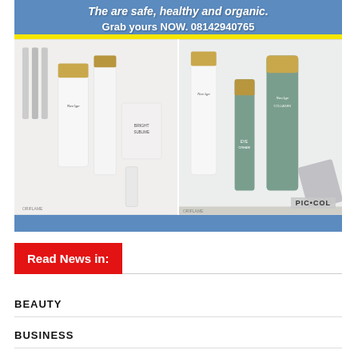[Figure (photo): Advertisement banner for Oriflame NovAge skincare products. Blue background at top with italic white text 'The are safe, healthy and organic.' and bold white text 'Grab yours NOW. 08142940765'. Yellow strip below. Two product photos: left shows white NovAge Bright Sublime skincare bottles/tubes on white background, right shows NovAge green/sage skincare bottles including Collagen on white/silver background with 'PIC•COL' watermark.]
Read News in:
BEAUTY
BUSINESS